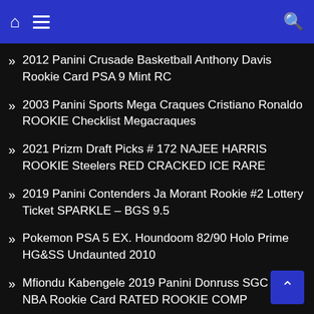Navigation bar with home, menu, and search icons
2012 Panini Crusade Basketball Anthony Davis Rookie Card PSA 9 Mint RC
2003 Panini Sports Mega Craques Cristiano Ronaldo ROOKIE Checklist Megacraques
2021 Prizm Draft Picks # 172 NAJEE HARRIS ROOKIE Steelers RED CRACKED ICE RARE
2019 Panini Contenders Ja Morant Rookie #2 Lottery Ticket SPARKLE – BGS 9.5
Pokemon PSA 5 EX. Houndoom 82/90 Holo Prime HG&SS Undaunted 2010
Mfiondu Kabengele 2019 Panini Donruss SGC 10 NBA Rookie Card RATED ROOKIE COMP
PSA 10 2009 Tristar Prospects Plus Mike Trout Rookie Card